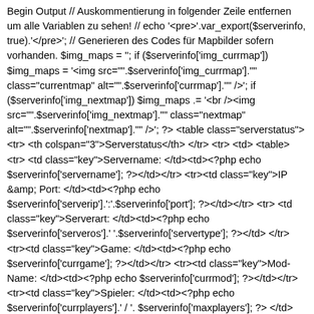Begin Output // Auskommentierung in folgender Zeile entfernen um alle Variablen zu sehen! // echo '<pre>'.var_export($serverinfo, true).'</pre>'; // Generieren des Codes für Mapbilder sofern vorhanden. $img_maps = ''; if ($serverinfo['img_currmap']) $img_maps = '<img src="'.$serverinfo['img_currmap'].'" class="currentmap" alt="'.$serverinfo['currmap'].'" />'; if ($serverinfo['img_nextmap']) $img_maps .= '<br /><img src="'.$serverinfo['img_nextmap'].'" class="nextmap" alt="'.$serverinfo['nextmap'].'" />'; ?> <table class="serverstatus"> <tr> <th colspan="3">Serverstatus</th> </tr> <tr> <td> <table> <tr> <td class="key">Servername: </td><td><?php echo $serverinfo['servername']; ?></td></tr> <tr><td class="key">IP &amp; Port: </td><td><?php echo $serverinfo['serverip'].':'.$serverinfo['port']; ?></td></tr> <tr> <td class="key">Serverart: </td><td><?php echo $serverinfo['serveros'].' '.$serverinfo['servertype']; ?></td> </tr> <tr><td class="key">Game: </td><td><?php echo $serverinfo['currgame']; ?></td></tr> <tr><td class="key">Mod-Name: </td><td><?php echo $serverinfo['currmod']; ?></td></tr> <tr><td class="key">Spieler: </td><td><?php echo $serverinfo['currplayers'].' / '. $serverinfo['maxplayers']; ?> </td></tr> <tr><td class="key">Servermodus: </td><td><?p